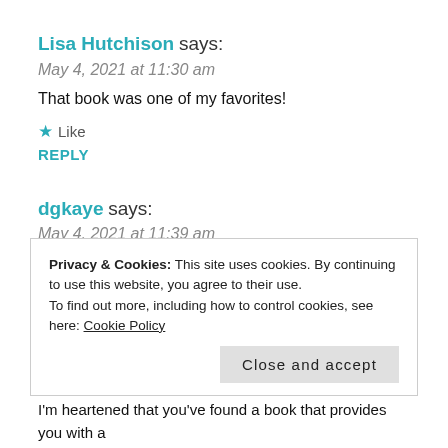Lisa Hutchison says:
May 4, 2021 at 11:30 am
That book was one of my favorites!
★ Like
REPLY
dgkaye says:
May 4, 2021 at 11:39 am
I've only just started it, and I concur ❤
Privacy & Cookies: This site uses cookies. By continuing to use this website, you agree to their use. To find out more, including how to control cookies, see here: Cookie Policy
Close and accept
I'm heartened that you've found a book that provides you with a